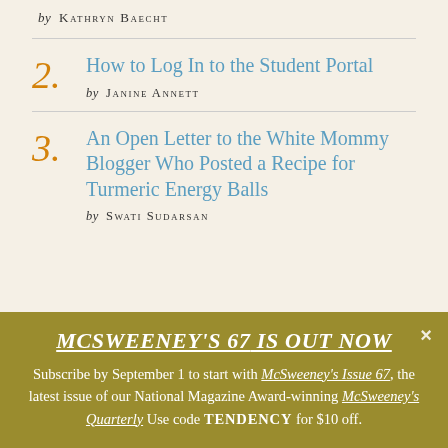by KATHRYN BAECHT
2. How to Log In to the Student Portal by JANINE ANNETT
3. An Open Letter to the White Mommy Blogger Who Posted a Recipe for Turmeric Energy Balls by SWATI SUDARSAN
MCSWEENEY'S 67 IS OUT NOW Subscribe by September 1 to start with McSweeney's Issue 67, the latest issue of our National Magazine Award-winning McSweeney's Quarterly Use code TENDENCY for $10 off.